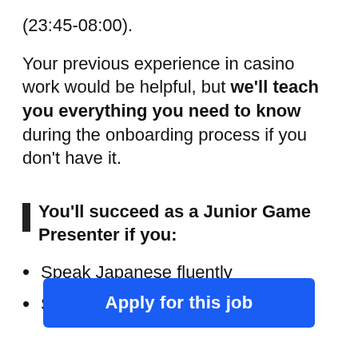(23:45-08:00).
Your previous experience in casino work would be helpful, but we'll teach you everything you need to know during the onboarding process if you don't have it.
You'll succeed as a Junior Game Presenter if you:
Speak Japanese fluently
Speak [conversational] level
Apply for this job